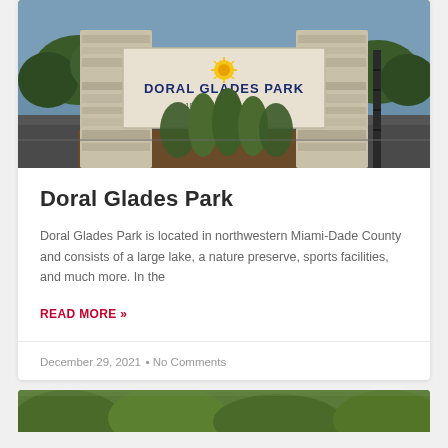[Figure (photo): Entrance sign of Doral Glades Park showing stone pillars and a sign reading 'DORAL GLADES PARK' with a sunflower logo and subtitle text, surrounded by ornamental grasses and greenery.]
Doral Glades Park
Doral Glades Park is located in northwestern Miami-Dade County and consists of a large lake, a nature preserve, sports facilities, and much more. In the
READ MORE »
December 29, 2021  •  No Comments
[Figure (photo): Partial view of another park or nature area, showing green foliage at the bottom of the page.]